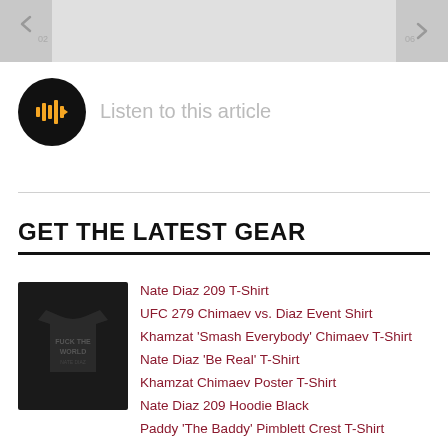[Figure (screenshot): Top navigation bar with left and right arrows on grey background]
[Figure (other): Black circular play button icon with orange audio waveform bars and play triangle]
Listen to this article
GET THE LATEST GEAR
[Figure (photo): Black t-shirt with white graphic text on the front]
Nate Diaz 209 T-Shirt
UFC 279 Chimaev vs. Diaz Event Shirt
Khamzat 'Smash Everybody' Chimaev T-Shirt
Nate Diaz 'Be Real' T-Shirt
Khamzat Chimaev Poster T-Shirt
Nate Diaz 209 Hoodie Black
Paddy 'The Baddy' Pimblett Crest T-Shirt